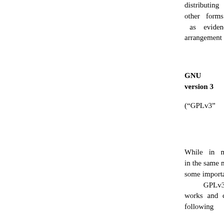distributing parties from entering into other forms of agreements related to patents as evidenced by the Microsoft-Novell arrangement announced in the fall of 2006.
GNU General Public License, version 3
(“GPLv3” - http://www.fsf.org/lic
While in most instances GPLv3 operates in the same manner as GPLv2, there are some important distinctions. As with GPLv2, GPLv3 addresses both derivative works and collective works with the same following